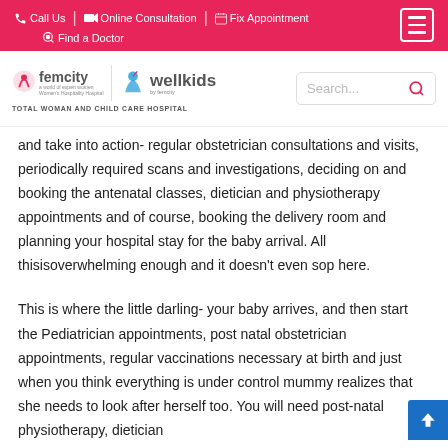Call Us | Online Consultation | Fix Appointment | Find a Doctor
[Figure (logo): Femcity and Wellkids hospital logo with tagline TOTAL WOMAN AND CHILD CARE HOSPITAL and search bar]
and take into action- regular obstetrician consultations and visits, periodically required scans and investigations, deciding on and booking the antenatal classes, dietician and physiotherapy appointments and of course, booking the delivery room and planning your hospital stay for the baby arrival. All thisisoverwhelming enough and it doesn't even sop here.
This is where the little darling- your baby arrives, and then start the Pediatrician appointments, post natal obstetrician appointments, regular vaccinations necessary at birth and just when you think everything is under control mummy realizes that she needs to look after herself too. You will need post-natal physiotherapy, dietician